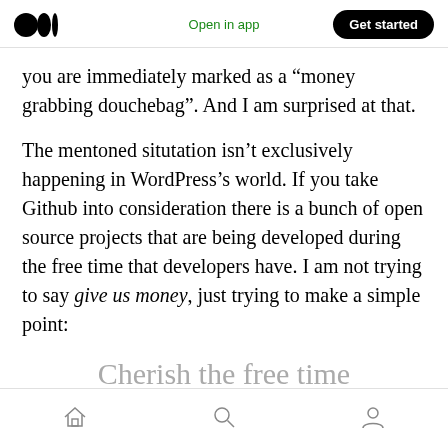Medium logo | Open in app | Get started
you are immediately marked as a “money grabbing douchebag”. And I am surprised at that.
The mentoned situtation isn’t exclusively happening in WordPress’s world. If you take Github into consideration there is a bunch of open source projects that are being developed during the free time that developers have. I am not trying to say give us money, just trying to make a simple point:
Cherish the free time
Home | Search | Profile